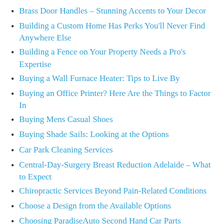Brass Door Handles – Stunning Accents to Your Decor
Building a Custom Home Has Perks You'll Never Find Anywhere Else
Building a Fence on Your Property Needs a Pro's Expertise
Buying a Wall Furnace Heater: Tips to Live By
Buying an Office Printer? Here Are the Things to Factor In
Buying Mens Casual Shoes
Buying Shade Sails: Looking at the Options
Car Park Cleaning Services
Central-Day-Surgery Breast Reduction Adelaide – What to Expect
Chiropractic Services Beyond Pain-Related Conditions
Choose a Design from the Available Options
Choosing ParadiseAuto Second Hand Car Parts